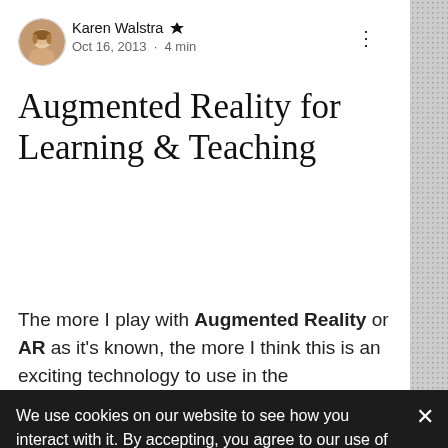[Figure (photo): Round avatar photo of Karen Walstra, a woman with light hair]
Karen Walstra 👑
Oct 16, 2013 · 4 min
Augmented Reality for Learning & Teaching
The more I play with Augmented Reality or AR as it's known, the more I think this is an exciting technology to use in the
We use cookies on our website to see how you interact with it. By accepting, you agree to our use of such cookies. https://www.evolveschool.co.za/about-5
Decline All
Accept
Settings